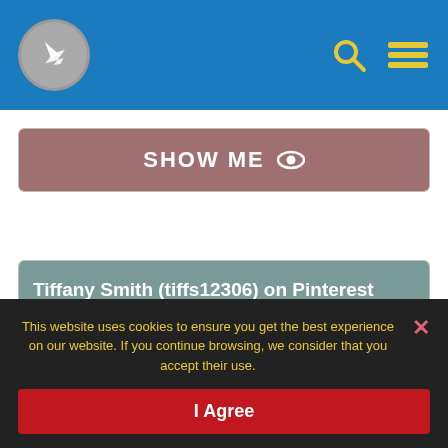[Figure (screenshot): Blue navigation header bar with airplane logo circle icon on left, and search (magnifying glass) and hamburger menu icons in yellow on the right]
[Figure (screenshot): SHOW ME button with eye icon, mauve/brownish-pink background]
Tiffany Smith (tiffs12306) on Pinterest
See what Tiffany Smith (tiffs12306) has discovered on Pinterest, the world's biggest collection of ideas.
https://www.pinterest.com/tiffs12306/
This website uses cookies to ensure you get the best experience on our website. If you continue browsing, we consider that you accept their use.
I Agree